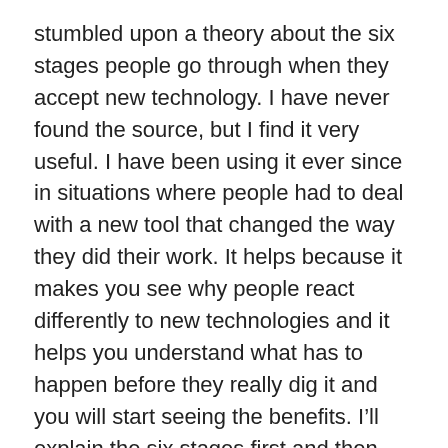stumbled upon a theory about the six stages people go through when they accept new technology. I have never found the source, but I find it very useful. I have been using it ever since in situations where people had to deal with a new tool that changed the way they did their work. It helps because it makes you see why people react differently to new technologies and it helps you understand what has to happen before they really dig it and you will start seeing the benefits. I'll explain the six stages first and then how to deal with them. Remember: it is the people going through these stages, not the technology.
1. Denial. It is nothing, just the next fad, look at those crazy nerds. About Twitter: “I don’t want to know that you have slept well and that you are now having your first cup of coffee. Get to work!” Or about cell phones: “A cell phone